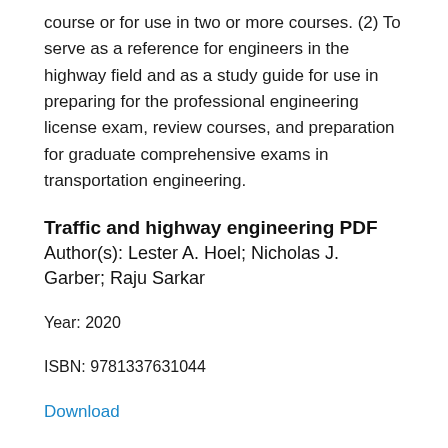course or for use in two or more courses. (2) To serve as a reference for engineers in the highway field and as a study guide for use in preparing for the professional engineering license exam, review courses, and preparation for graduate comprehensive exams in transportation engineering.
Traffic and highway engineering PDF
Author(s): Lester A. Hoel; Nicholas J. Garber; Raju Sarkar
Year: 2020
ISBN: 9781337631044
Download
Download